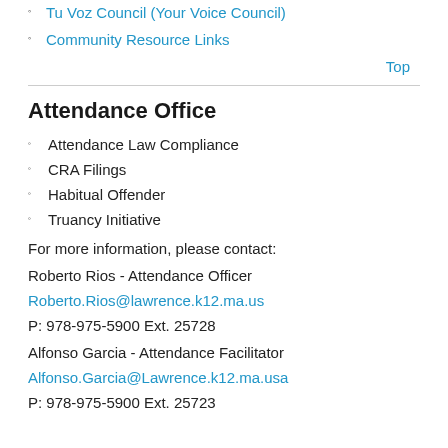Tu Voz Council (Your Voice Council)
Community Resource Links
Top
Attendance Office
Attendance Law Compliance
CRA Filings
Habitual Offender
Truancy Initiative
For more information, please contact:
Roberto Rios - Attendance Officer
Roberto.Rios@lawrence.k12.ma.us
P: 978-975-5900 Ext. 25728
Alfonso Garcia - Attendance Facilitator
Alfonso.Garcia@Lawrence.k12.ma.usa
P: 978-975-5900 Ext. 25723